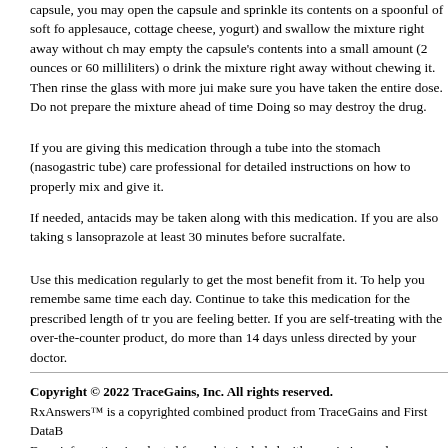capsule, you may open the capsule and sprinkle its contents on a spoonful of soft food (applesauce, cottage cheese, yogurt) and swallow the mixture right away without chewing it. You may empty the capsule's contents into a small amount (2 ounces or 60 milliliters) of juice and drink the mixture right away without chewing it. Then rinse the glass with more juice to make sure you have taken the entire dose. Do not prepare the mixture ahead of time. Doing so may destroy the drug.
If you are giving this medication through a tube into the stomach (nasogastric tube), ask your care professional for detailed instructions on how to properly mix and give it.
If needed, antacids may be taken along with this medication. If you are also taking sucralfate, take lansoprazole at least 30 minutes before sucralfate.
Use this medication regularly to get the most benefit from it. To help you remember, take it at the same time each day. Continue to take this medication for the prescribed length of treatment even if you are feeling better. If you are self-treating with the over-the-counter product, do not take it for more than 14 days unless directed by your doctor.
Tell your doctor if your condition lasts or gets worse. If you are self-treating, tell your doctor if your heartburn lasts after 14 days or if you need to use this medication more than once every 4 months. The risk of side effects goes up over time. Ask your doctor how long you should take this medication. If you think you may have a serious medical problem, get medical help right away.
Copyright © 2022 TraceGains, Inc. All rights reserved.
RxAnswers™ is a copyrighted combined product from TraceGains and First DataB...
Drug information is selected from data included with permission and copyrighted b... Inc. This is a summary and does not contain all possible information about this prod...